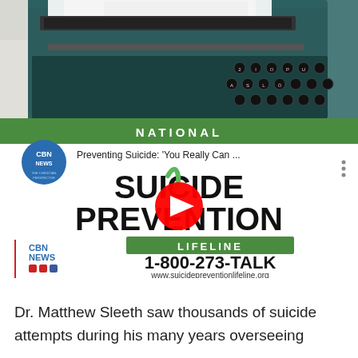[Figure (photo): Close-up photograph of a teal/dark green vintage typewriter with black keys on a white surface]
[Figure (screenshot): YouTube video thumbnail showing CBN News video titled 'Preventing Suicide: You Really Can...' overlaid on a Suicide Prevention Lifeline graphic with green banner, large bold text SUICIDE PREVENTION, green LIFELINE banner, phone number 1-800-273-TALK, website www.suicidepreventionlifeline.org, and CBN News logo. A red YouTube play button is centered.]
Dr. Matthew Sleeth saw thousands of suicide attempts during his many years overseeing